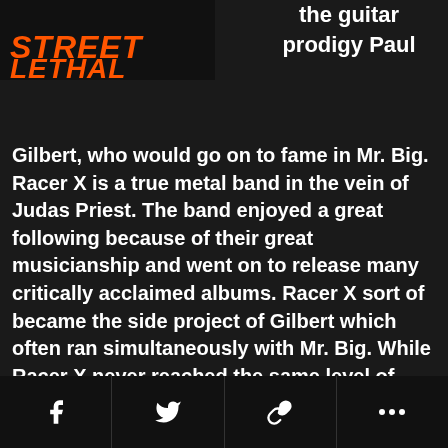[Figure (illustration): Album cover text 'STREET LETHAL' in orange graffiti-style lettering on dark background]
the guitar prodigy Paul
Gilbert, who would go on to fame in Mr. Big. Racer X is a true metal band in the vein of Judas Priest. The band enjoyed a great following because of their great musicianship and went on to release many critically acclaimed albums. Racer X sort of became the side project of Gilbert which often ran simultaneously with Mr. Big. While Racer X never reached the same level of success as Mr. Big, the band is notable for being an influence on many musicians who saw the band as the cream of the crop in musical abilities.
[Figure (infographic): Share bar with Facebook, Twitter, link, and more buttons]